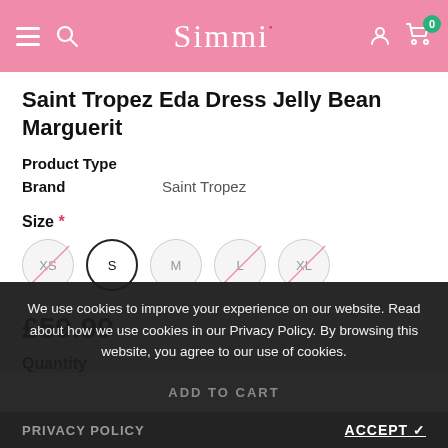Simmi
Saint Tropez Eda Dress Jelly Bean Marguerit
Product Type
Brand    Saint Tropez
Size *
XS  S  M  L  XL
£59.99
Quantity
We use cookies to improve your experience on our website. Read about how we use cookies in our Privacy Policy. By browsing this website, you agree to our use of cookies.
ADD TO CART
PRIVACY POLICY    ACCEPT ✓